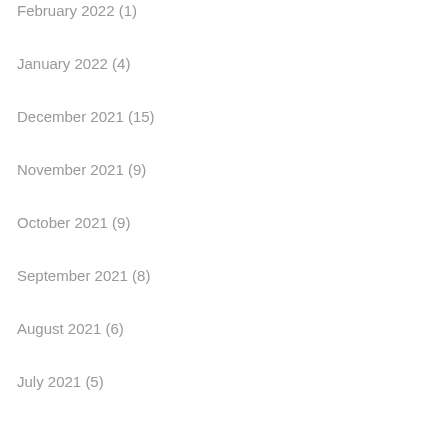February 2022 (1)
January 2022 (4)
December 2021 (15)
November 2021 (9)
October 2021 (9)
September 2021 (8)
August 2021 (6)
July 2021 (5)